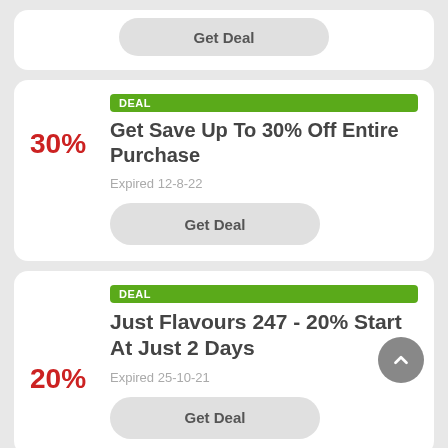Get Deal
DEAL
Get Save Up To 30% Off Entire Purchase
30%
Expired 12-8-22
Get Deal
DEAL
Just Flavours 247 - 20% Start At Just 2 Days
20%
Expired 25-10-21
Get Deal